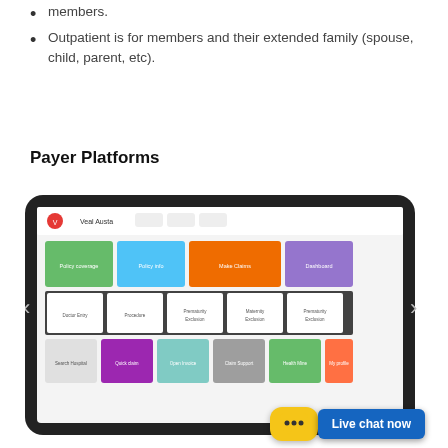members.
Outpatient is for members and their extended family (spouse, child, parent, etc).
Payer Platforms
[Figure (screenshot): Screenshot of a tablet showing a payer platform app (Veal Austa) with a colorful grid of icons including Policy coverage, Policy info, Make Claims, Dashboard, Doctor Entry, Procedure, Prematurity Exclusion, Maternity Exclusion, Prematurity Exclusion, Search Hospital, Quick claim, Open Invoice, Claim Support, Health Mine, My Profile. Navigation arrows on left and right sides.]